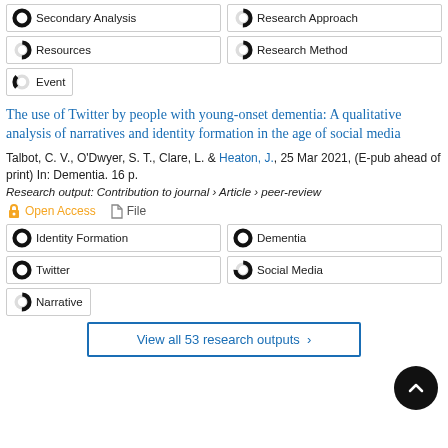100% Secondary Analysis
50% Research Approach
50% Resources
50% Research Method
25% Event
The use of Twitter by people with young-onset dementia: A qualitative analysis of narratives and identity formation in the age of social media
Talbot, C. V., O'Dwyer, S. T., Clare, L. & Heaton, J., 25 Mar 2021, (E-pub ahead of print) In: Dementia. 16 p.
Research output: Contribution to journal › Article › peer-review
Open Access   File
100% Identity Formation
100% Dementia
100% Twitter
75% Social Media
50% Narrative
View all 53 research outputs >